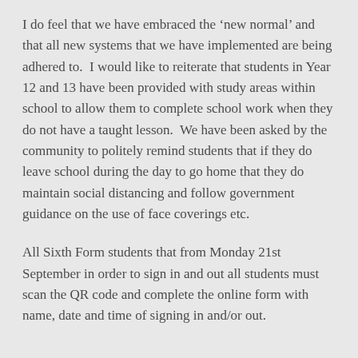I do feel that we have embraced the ‘new normal’ and that all new systems that we have implemented are being adhered to.  I would like to reiterate that students in Year 12 and 13 have been provided with study areas within school to allow them to complete school work when they do not have a taught lesson.  We have been asked by the community to politely remind students that if they do leave school during the day to go home that they do maintain social distancing and follow government guidance on the use of face coverings etc.
All Sixth Form students that from Monday 21st September in order to sign in and out all students must scan the QR code and complete the online form with name, date and time of signing in and/or out.